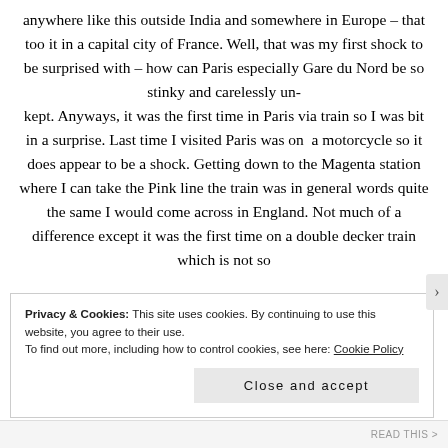anywhere like this outside India and somewhere in Europe – that too it in a capital city of France. Well, that was my first shock to be surprised with – how can Paris especially Gare du Nord be so stinky and carelessly unkept. Anyways, it was the first time in Paris via train so I was bit in a surprise. Last time I visited Paris was on a motorcycle so it does appear to be a shock. Getting down to the Magenta station where I can take the Pink line the train was in general words quite the same I would come across in England. Not much of a difference except it was the first time on a double decker train which is not so
Privacy & Cookies: This site uses cookies. By continuing to use this website, you agree to their use.
To find out more, including how to control cookies, see here: Cookie Policy
Close and accept